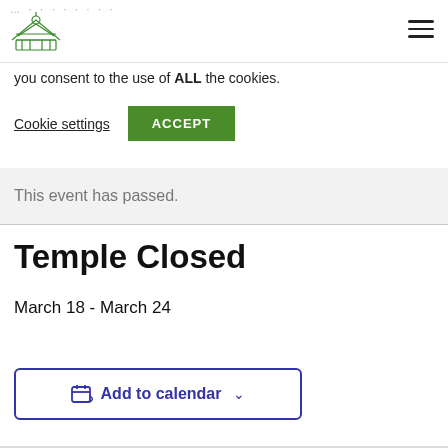Temple logo and navigation hamburger menu
you consent to the use of ALL the cookies.
Cookie settings   ACCEPT
This event has passed.
Temple Closed
March 18 - March 24
Add to calendar